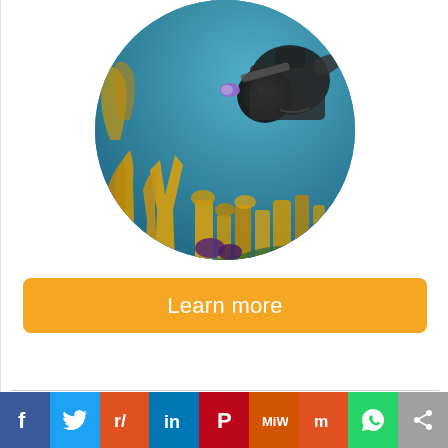[Figure (photo): Circular cropped underwater photo showing a scuba diver with a large underwater camera rig photographing a coral reef with colorful sponges and corals.]
[Figure (other): Orange 'Learn more' call-to-action button]
[Figure (infographic): Social media sharing bar at the bottom with icons for Facebook, Twitter, Reddit, LinkedIn, Pinterest, MeWe, Mix, WhatsApp, and a share button.]